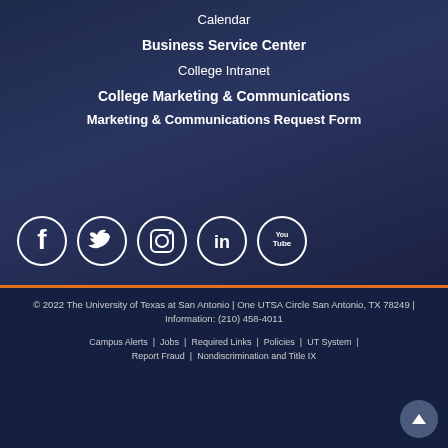Calendar
Business Service Center
College Intranet
College Marketing & Communications
Marketing & Communications Request Form
[Figure (infographic): Social media icons: Facebook, Twitter, Instagram, LinkedIn, YouTube — white circle outlines on dark background]
© 2022 The University of Texas at San Antonio | One UTSA Circle San Antonio, TX 78249 | Information: (210) 458-4011
Campus Alerts | Jobs | Required Links | Policies | UT System | Report Fraud | Nondiscrimination and Title IX